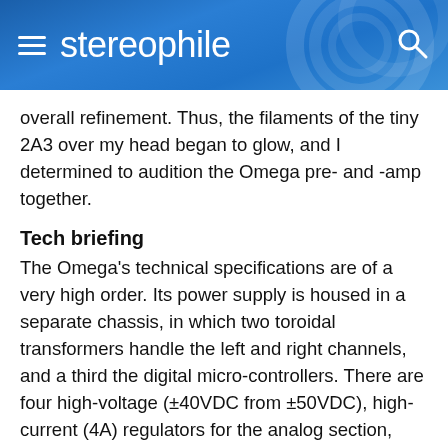stereophile
overall refinement. Thus, the filaments of the tiny 2A3 over my head began to glow, and I determined to audition the Omega pre- and -amp together.
Tech briefing
The Omega's technical specifications are of a very high order. Its power supply is housed in a separate chassis, in which two toroidal transformers handle the left and right channels, and a third the digital micro-controllers. There are four high-voltage (±40VDC from ±50VDC), high-current (4A) regulators for the analog section, and more than 12,000uF of main storage capacitance. High-performance Deutsch connectors terminate the umbilical running between the controls and the power supply. Th